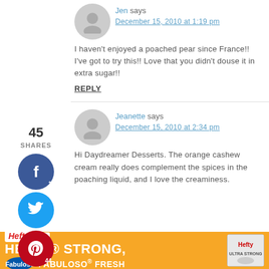Jen says
December 15, 2010 at 1:19 pm
I haven't enjoyed a poached pear since France!! I've got to try this!! Love that you didn't douse it in extra sugar!!
REPLY
[Figure (infographic): Social share buttons: Facebook (1 share), Twitter, Pinterest (44 shares), Yummly; showing 45 SHARES total]
Jeanette says
December 15, 2010 at 2:34 pm
Hi Daydreamer Desserts. The orange cashew cream really does complement the spices in the poaching liquid, and I love the creaminess.
[Figure (infographic): Hefty advertisement banner: HEFTY STRONG, FABULOSO FRESH with Fabuloso and Hefty logos]